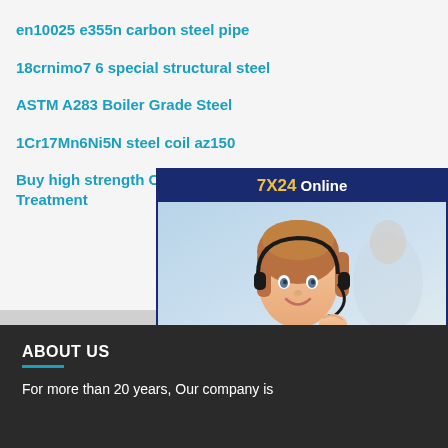en10025 e355n carbon steel pipe
18crnimo7 6 special structural steel
ASTM A283 Boiler Grade Steel
1Cr17Mn6Ni5N steel coil az150
Buy high strength Coil Ba Surface Treatment
[Figure (infographic): Customer service chat widget showing '7X24 Online' header in dark blue with gold text, a photo of a smiling woman with a headset, and a 'Get Latest Price' button. Text says 'Hello,may I help you?']
ABOUT US
For more than 20 years, Our company is